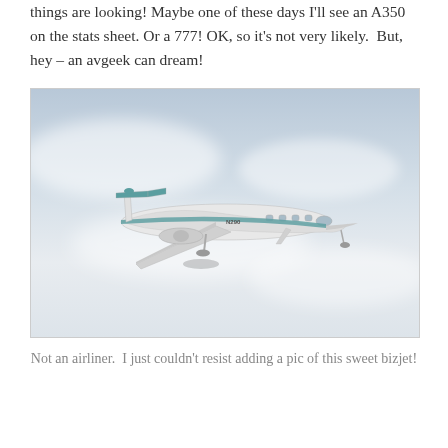things are looking! Maybe one of these days I'll see an A350 on the stats sheet. Or a 777! OK, so it's not very likely.  But, hey – an avgeek can dream!
[Figure (photo): A white and teal business jet (bizjet) photographed in flight against a cloudy grey-blue sky. The aircraft appears to be a Hawker or similar business jet with rear-mounted engines and a T-tail configuration. Registration markings visible on the fuselage.]
Not an airliner.  I just couldn't resist adding a pic of this sweet bizjet!